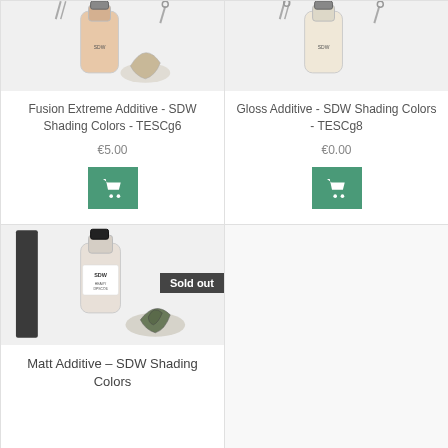[Figure (photo): Product image of Fusion Extreme Additive paint bottle with miniature figure, partially cropped at top]
Fusion Extreme Additive - SDW Shading Colors - TESCg6
€5.00
[Figure (photo): Product image of Gloss Additive paint bottle with miniature figure, partially cropped at top]
Gloss Additive - SDW Shading Colors - TESCg8
€0.00
[Figure (photo): Product image of Matt Additive SDW Shading Colors bottle with SDW branding strip and small miniature figures]
Sold out
Matt Additive - SDW Shading Colors